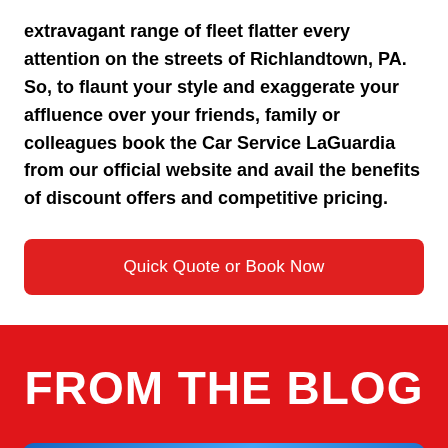extravagant range of fleet flatter every attention on the streets of Richlandtown, PA. So, to flaunt your style and exaggerate your affluence over your friends, family or colleagues book the Car Service LaGuardia from our official website and avail the benefits of discount offers and competitive pricing.
Quick Quote or Book Now
FROM THE BLOG
[Figure (photo): Blue gradient image bar at bottom, partially visible]